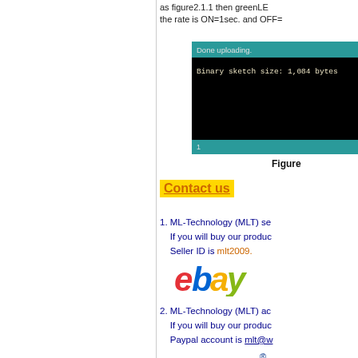as figure2.1.1 then greenLED the rate is ON=1sec. and OFF=
[Figure (screenshot): Arduino IDE upload completion screen showing 'Done uploading.' message and 'Binary sketch size: 1,084 bytes' text on dark terminal background with teal top and bottom bars]
Figure
Contact us
1. ML-Technology (MLT) se If you will buy our produ Seller ID is mlt2009.
[Figure (logo): eBay logo with red 'e', blue 'b', yellow 'a', green 'y' letters]
2. ML-Technology (MLT) ac If you will buy our produ Paypal account is mlt@w
[Figure (logo): PayPal logo in blue italic bold text with registered trademark symbol]